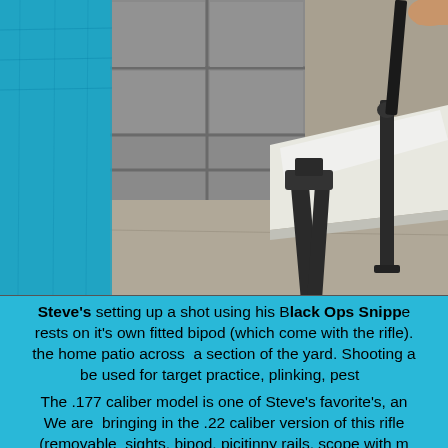[Figure (photo): Outdoor photo showing a white folding table with a bipod-mounted air rifle resting on it. Background shows a gray garage door. The ground is concrete/asphalt. The rifle bipod legs are prominently visible in the foreground. A hand is partially visible at top right holding the rifle. The scene is set on a home patio.]
Steve's setting up a shot using his Black Ops Snipp... rests on it's own fitted bipod (which come with the rifle). the home patio across a section of the yard. Shooting a... be used for target practice, plinking, pest ...
The .177 caliber model is one of Steve's favorite's, an... We are bringing in the .22 caliber version of this rifle (removable sights, bipod, picitinny rails, scope with m... value. Evidenced by the numerous favorable reviews, m...